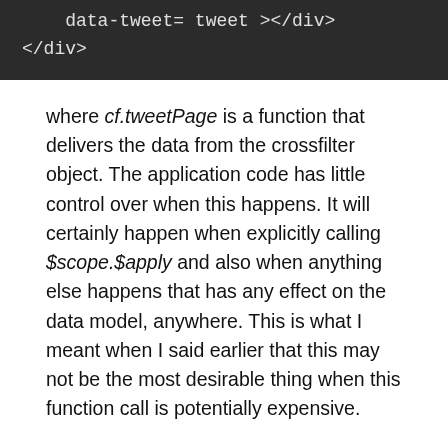[Figure (screenshot): Dark-themed code block showing HTML: data-tweet='tweet'></div> and </div>]
where cf.tweetPage is a function that delivers the data from the crossfilter object. The application code has little control over when this happens. It will certainly happen when explicitly calling $scope.$apply and also when anything else happens that has any effect on the data model, anywhere. This is what I meant when I said earlier that this may not be the most desirable thing when this function call is potentially expensive.
ReactJS works the other way round. The application instantiates a component for the list of